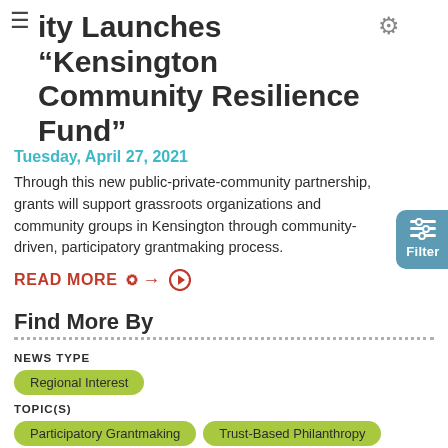City Launches “Kensington Community Resilience Fund”
Tuesday, April 27, 2021
Through this new public-private-community partnership, grants will support grassroots organizations and community groups in Kensington through community-driven, participatory grantmaking process.
READ MORE →
Find More By
NEWS TYPE
Regional Interest
TOPIC(S)
Participatory Grantmaking
Trust-Based Philanthropy
FUNDING AREA